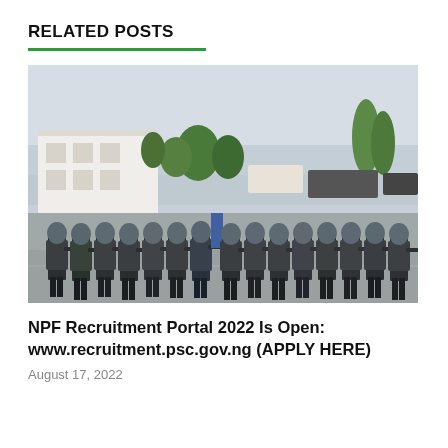RELATED POSTS
[Figure (photo): A row of Nigerian police force officers in black riot gear and blue helmets marching in formation, aiming rifles, with a white building, trees, and vehicles in the background.]
NPF Recruitment Portal 2022 Is Open: www.recruitment.psc.gov.ng (APPLY HERE)
August 17, 2022